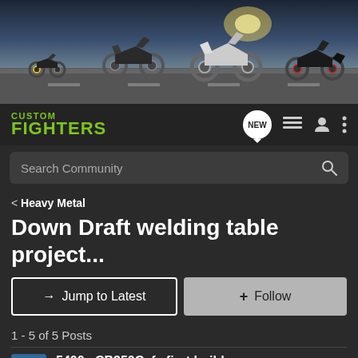[Figure (photo): Banner image showing motorcycles on a road with sunlight in background]
CUSTOM FIGHTERS
Search Community
< Heavy Metal
Down Draft welding table project...
→ Jump to Latest
+ Follow
1 - 5 of 5 Posts
5400 · CB350Cafe first build
Joined Dec 1, 2011 · 393 Posts